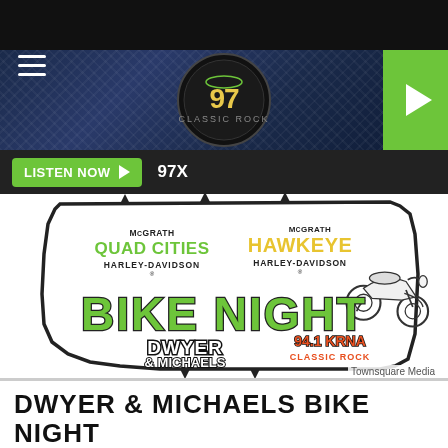97X Radio station app header with hamburger menu, 97X logo, and play button
LISTEN NOW ▶  97X
[Figure (logo): McGrath Quad Cities Harley-Davidson and McGrath Hawkeye Harley-Davidson Bike Night event logo with Dwyer & Michaels and 94.1 KRNA Classic Rock branding, shaped like the state of Iowa with a motorcycle illustration]
Townsquare Media
DWYER & MICHAELS BIKE NIGHT